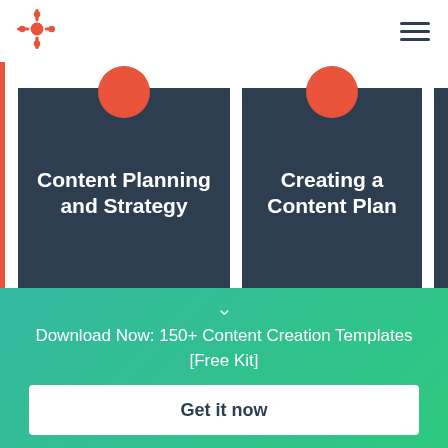HubSpot logo and navigation menu
[Figure (infographic): Two dark navy blue cards with orange circular icons at top. First card: 'Content Planning and Strategy'. Second card: 'Creating a Content Plan'. Partial third card visible on right edge.]
Download Now: 150+ Content Creation Templates [Free Kit]
Get it now